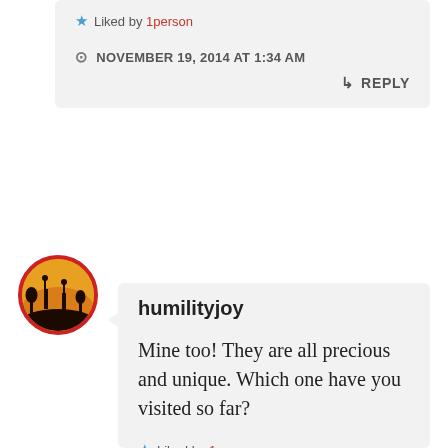Liked by 1person
NOVEMBER 19, 2014 AT 1:34 AM
↳ REPLY
[Figure (illustration): Circular avatar with red border showing silhouette of giraffes against an orange sunset background]
humilityjoy
Mine too! They are all precious and unique. Which one have you visited so far?
Liked by 1person
NOVEMBER 19, 2014 AT 5:31